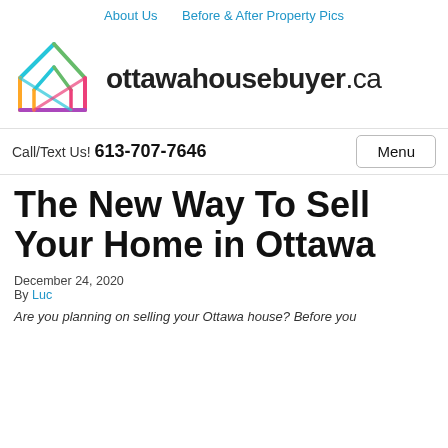About Us   Before & After Property Pics
[Figure (logo): ottawahousebuyer.ca logo with colorful geometric house icon and bold site name text]
Call/Text Us! 613-707-7646
The New Way To Sell Your Home in Ottawa
December 24, 2020
By Luc
Are you planning on selling your Ottawa house? Before you ...